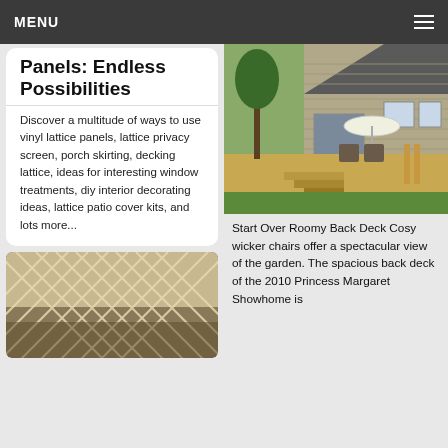MENU
Panels: Endless Possibilities
Discover a multitude of ways to use vinyl lattice panels, lattice privacy screen, porch skirting, decking lattice, ideas for interesting window treatments, diy interior decorating ideas, lattice patio cover kits, and lots more...
[Figure (photo): Lattice panels leaning against a wall outdoors]
[Figure (photo): Roomy back deck with wicker chairs, umbrella, and wood stairs surrounded by green lawn and house]
Start Over Roomy Back Deck Cosy wicker chairs offer a spectacular view of the garden. The spacious back deck of the 2010 Princess Margaret Showhome is